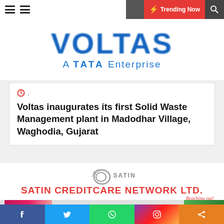Trending Now
[Figure (logo): Voltas - A TATA Enterprise logo in blue]
🕐 .
Voltas inaugurates its first Solid Waste Management plant in Madodhar Village, Waghodia, Gujarat
[Figure (logo): SATIN CREDITCARE NETWORK LTD. - Reaching out! advertisement banner]
[Figure (photo): Partial image strip at bottom of page]
Facebook Twitter WhatsApp Instagram Share social buttons